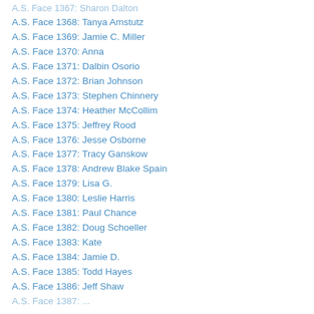A.S. Face 1368: Tanya Amstutz
A.S. Face 1369: Jamie C. Miller
A.S. Face 1370: Anna
A.S. Face 1371: Dalbin Osorio
A.S. Face 1372: Brian Johnson
A.S. Face 1373: Stephen Chinnery
A.S. Face 1374: Heather McCollim
A.S. Face 1375: Jeffrey Rood
A.S. Face 1376: Jesse Osborne
A.S. Face 1377: Tracy Ganskow
A.S. Face 1378: Andrew Blake Spain
A.S. Face 1379: Lisa G.
A.S. Face 1380: Leslie Harris
A.S. Face 1381: Paul Chance
A.S. Face 1382: Doug Schoeller
A.S. Face 1383: Kate
A.S. Face 1384: Jamie D.
A.S. Face 1385: Todd Hayes
A.S. Face 1386: Jeff Shaw
A.S. Face 1387: ...